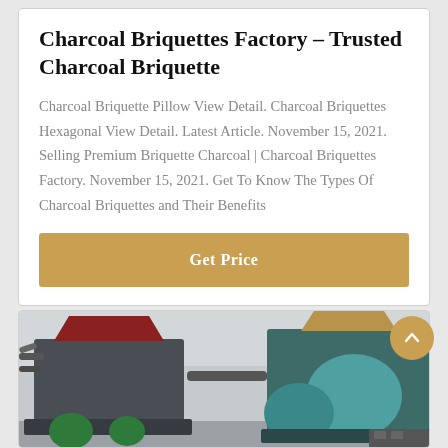Charcoal Briquettes Factory – Trusted Charcoal Briquette
Charcoal Briquette Pillow View Detail. Charcoal Briquettes Hexagonal View Detail. Latest Article. November 15, 2021. Selling Premium Briquette Charcoal | Charcoal Briquettes Factory. November 15, 2021. Get To Know The Types Of Charcoal Briquettes and Their Benefits
Get Price
[Figure (photo): Industrial charcoal briquette machines in a factory setting, showing dark-colored and teal/green-colored briquette press machines with hoppers on top, pipes, and motors, photographed outdoors against a light-colored wall.]